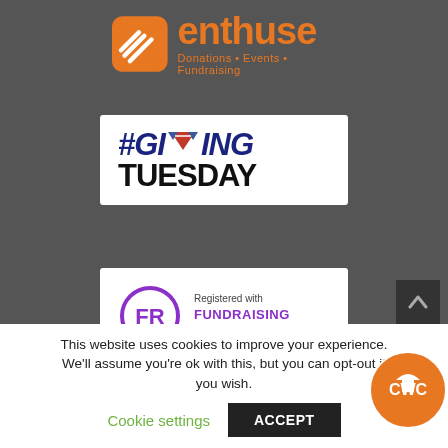[Figure (logo): Enthuse logo — orange rounded square icon with three diagonal lines, next to orange text 'enthuse' and tagline 'Donations • Events • Fundraising']
[Figure (logo): #GivingTuesday logo on white background — dark blue italic bold text '#GIVING' with a red/white heart icon replacing the 'O', and 'TUESDAY' in large black bold text below]
[Figure (logo): Fundraising Regulator badge on white background — purple circle with 'FR' text, alongside 'Registered with FUNDRAISING REGULATOR' in purple text]
This website uses cookies to improve your experience. We'll assume you're ok with this, but you can opt-out if you wish.
Cookie settings   ACCEPT